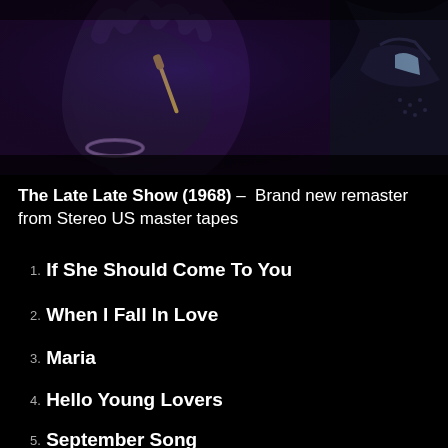[Figure (photo): Dark photograph showing hands of a performer, one hand open and raised, wearing a bracelet, holding what appears to be a microphone or pen; another person in a suit visible on the right side. Dark, moody stage lighting with purple/blue tones.]
The Late Late Show (1968) – Brand new remaster from Stereo US master tapes
1. If She Should Come To You
2. When I Fall In Love
3. Maria
4. Hello Young Lovers
5. September Song